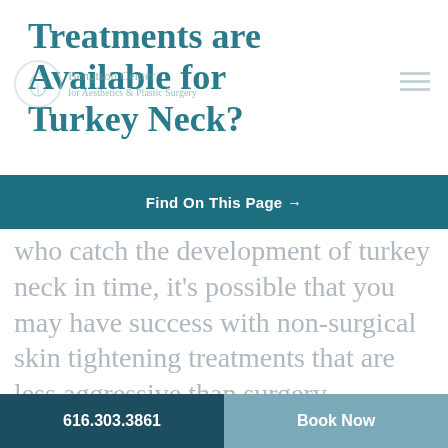Treatments are Available for Turkey Neck?
[Figure (logo): Bengtson Center logo with leaf icon and circular border]
Find On This Page →
who catch the development of turkey neck in time, it's possible that you may have success with non-surgical skin tightening treatments that are less aggressive than surgery.
These treatments, such as ultrasound and radiofrequency therapies, as well as
616.303.3861   Book Now